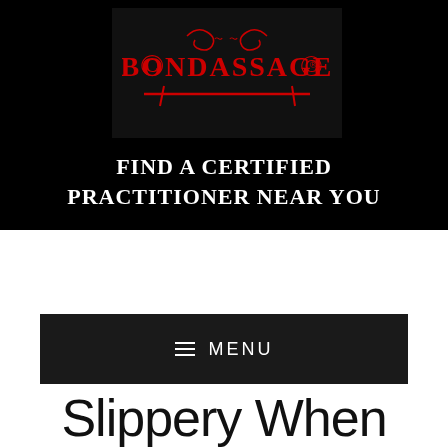[Figure (logo): Bondassage logo — red ornamental text on dark background with decorative swirls and horizontal line]
FIND A CERTIFIED PRACTITIONER NEAR YOU
≡ MENU
Slippery When